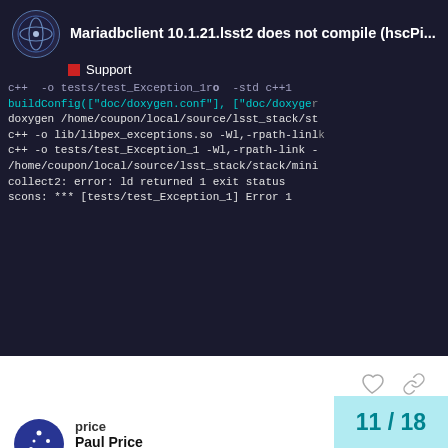Mariadbclient 10.1.21.lsst2 does not compile (hscPi... | Support
[Figure (screenshot): Terminal/code block showing compiler output with cyan and red colored text on dark background]
price
Paul Price
LSST Data Management
May '18
The error message isn't complete because the long lines have been truncated, so it's difficult to tell.
I know that boost plays some naming tricks, a... they include the name of the linker in there, so...
11 / 18